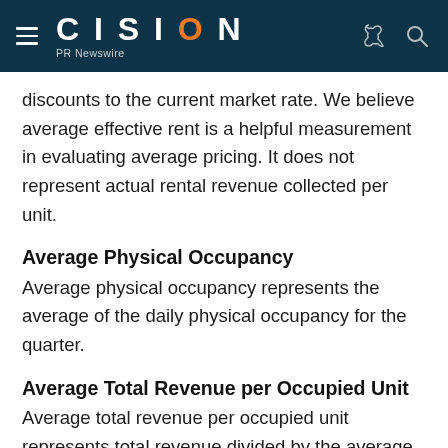CISION PR Newswire
discounts to the current market rate. We believe average effective rent is a helpful measurement in evaluating average pricing. It does not represent actual rental revenue collected per unit.
Average Physical Occupancy
Average physical occupancy represents the average of the daily physical occupancy for the quarter.
Average Total Revenue per Occupied Unit
Average total revenue per occupied unit represents total revenue divided by the average daily physical occupancy per unit.